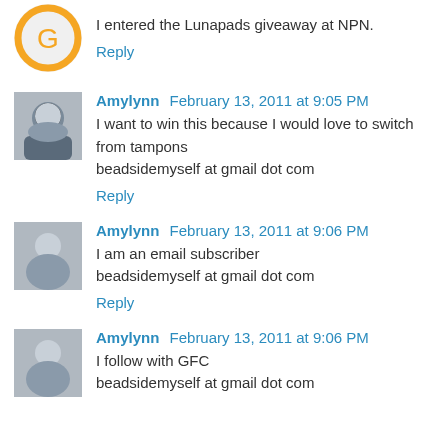I entered the Lunapads giveaway at NPN.
Reply
Amylynn February 13, 2011 at 9:05 PM
I want to win this because I would love to switch from tampons
beadsidemyself at gmail dot com
Reply
Amylynn February 13, 2011 at 9:06 PM
I am an email subscriber
beadsidemyself at gmail dot com
Reply
Amylynn February 13, 2011 at 9:06 PM
I follow with GFC
beadsidemyself at gmail dot com